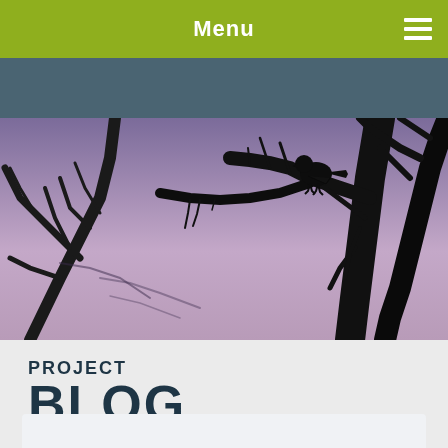Menu
[Figure (photo): Bird silhouette perched on bare dead tree branches against a purple/mauve twilight sky background]
PROJECT BLOG
[Figure (other): Partial view of a card or content block at the bottom of the page, light gray background]